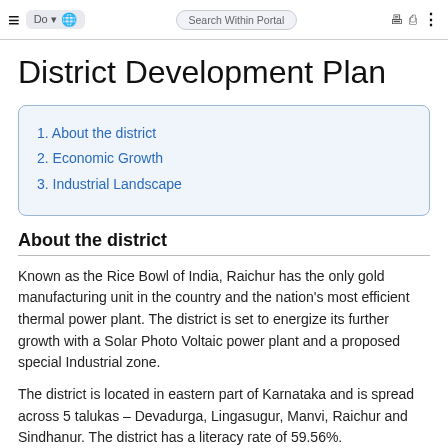District Development Plan – viksapedia navigation bar with search
District Development Plan
1. About the district
2. Economic Growth
3. Industrial Landscape
About the district
Known as the Rice Bowl of India, Raichur has the only gold manufacturing unit in the country and the nation's most efficient thermal power plant. The district is set to energize its further growth with a Solar Photo Voltaic power plant and a proposed special Industrial zone.
The district is located in eastern part of Karnataka and is spread across 5 talukas – Devadurga, Lingasugur, Manvi, Raichur and Sindhanur. The district has a literacy rate of 59.56%.
Economic Growth